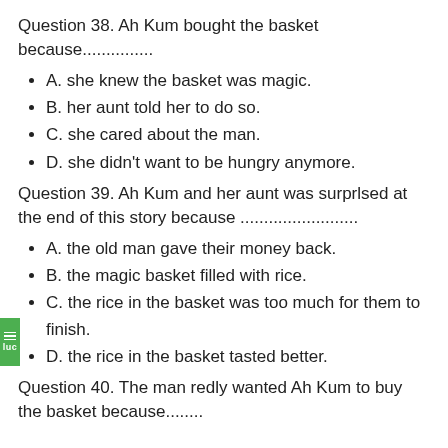Question 38. Ah Kum bought the basket because...............
A. she knew the basket was magic.
B. her aunt told her to do so.
C. she cared about the man.
D. she didn't want to be hungry anymore.
Question 39. Ah Kum and her aunt was surprlsed at the end of this story because .........................
A. the old man gave their money back.
B. the magic basket filled with rice.
C. the rice in the basket was too much for them to finish.
D. the rice in the basket tasted better.
Question 40. The man redly wanted Ah Kum to buy the basket because........